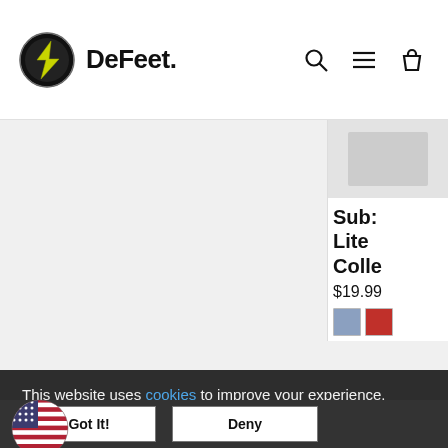[Figure (logo): DeFeet logo with circular icon containing lightning bolt and DeFeet text wordmark]
[Figure (screenshot): Website product listing page showing partial product card on the right side with product image, title starting with 'Sub... Lite... Colle...', price $19.99, and color swatches]
This website uses cookies to improve your experience.
Got It!
Deny